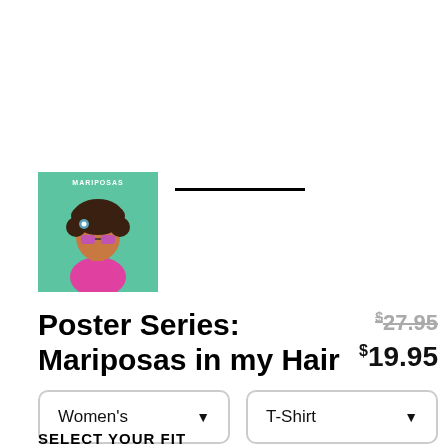[Figure (illustration): Small square thumbnail with teal/green background showing an illustrated woman with curly hair and sunglasses, wearing a pink top. Text 'MARIPOSAS' appears at top of the image.]
Poster Series: Mariposas in my Hair
$27.95 (strikethrough) $19.95
Women's (dropdown) T-Shirt (dropdown)
SELECT YOUR FIT